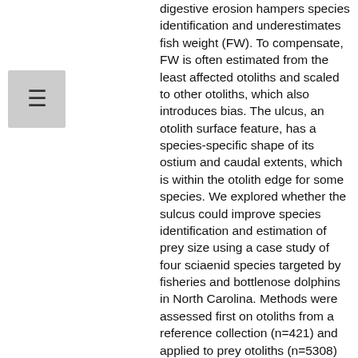[Figure (other): Hamburger menu button icon (three horizontal lines) on a grey square background]
digestive erosion hampers species identification and underestimates fish weight (FW). To compensate, FW is often estimated from the least affected otoliths and scaled to other otoliths, which also introduces bias. The ulcus, an otolith surface feature, has a species-specific shape of its ostium and caudal extents, which is within the otolith edge for some species. We explored whether the sulcus could improve species identification and estimation of prey size using a case study of four sciaenid species targeted by fisheries and bottlenose dolphins in North Carolina. Methods were assessed first on otoliths from a reference collection (n=421) and applied to prey otoliths (n=5308) recovered from 20 stomachs of dead